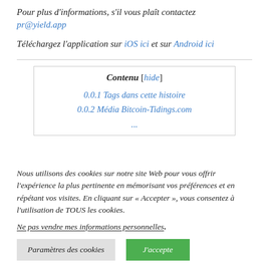Pour plus d'informations, s'il vous plaît contactez pr@yield.app
Téléchargez l'application sur iOS ici et sur Android ici
Contenu [hide]
0.0.1 Tags dans cette histoire
0.0.2 Média Bitcoin-Tidings.com
Nous utilisons des cookies sur notre site Web pour vous offrir l'expérience la plus pertinente en mémorisant vos préférences et en répétant vos visites. En cliquant sur « Accepter », vous consentez à l'utilisation de TOUS les cookies.
Ne pas vendre mes informations personnelles.
Paramètres des cookies	J'accepte